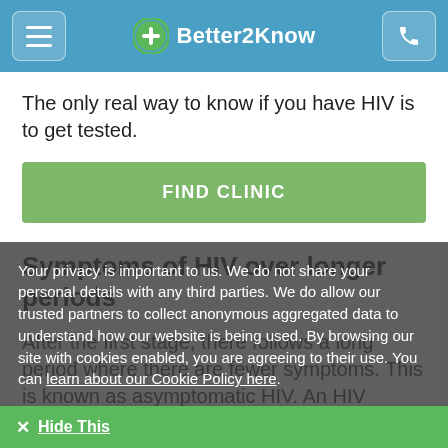Better2Know
The only real way to know if you have HIV is to get tested.
FIND CLINIC
Symptoms of HIV over longer periods
After the first stage, there follows a long period where there are fewer symptoms. This is known as asymptomatic HIV. An HIV positive person can look and feel well for the first few years of an infection. They may slowly find that it takes longer
Your privacy is important to us. We do not share your personal details with any third parties. We do allow our trusted partners to collect anonymous aggregated data to understand how our website is being used. By browsing our site with cookies enabled, you are agreeing to their use. You can learn about our Cookie Policy here.
✕ Hide This